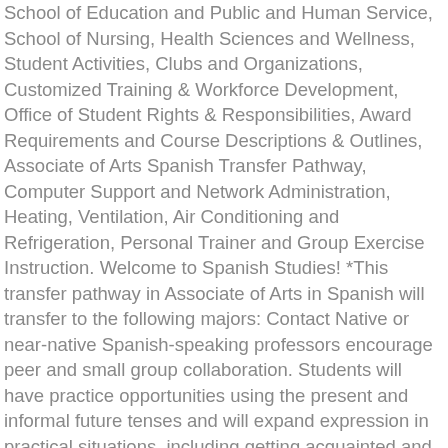School of Education and Public and Human Service, School of Nursing, Health Sciences and Wellness, Student Activities, Clubs and Organizations, Customized Training & Workforce Development, Office of Student Rights & Responsibilities, Award Requirements and Course Descriptions & Outlines, Associate of Arts Spanish Transfer Pathway, Computer Support and Network Administration, Heating, Ventilation, Air Conditioning and Refrigeration, Personal Trainer and Group Exercise Instruction. Welcome to Spanish Studies! *This transfer pathway in Associate of Arts in Spanish will transfer to the following majors: Contact Native or near-native Spanish-speaking professors encourage peer and small group collaboration. Students will have practice opportunities using the present and informal future tenses and will expand expression in practical situations, including getting acquainted and ordering food. It also offers conversational Spanish classes and Spanish for travelers. It is used by more than 500